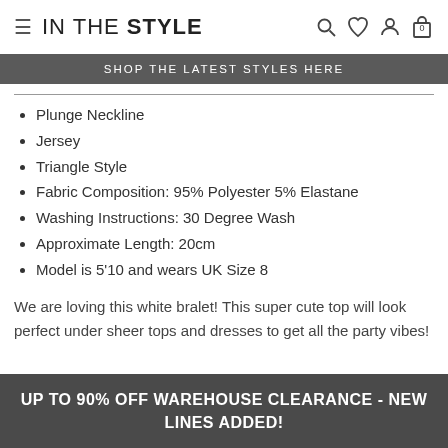IN THE STYLE — navigation bar with menu icon, search, wishlist, account, cart icons
SHOP THE LATEST STYLES HERE
Plunge Neckline
Jersey
Triangle Style
Fabric Composition: 95% Polyester 5% Elastane
Washing Instructions: 30 Degree Wash
Approximate Length: 20cm
Model is 5'10 and wears UK Size 8
We are loving this white bralet! This super cute top will look perfect under sheer tops and dresses to get all the party vibes!
UP TO 90% OFF WAREHOUSE CLEARANCE - NEW LINES ADDED!